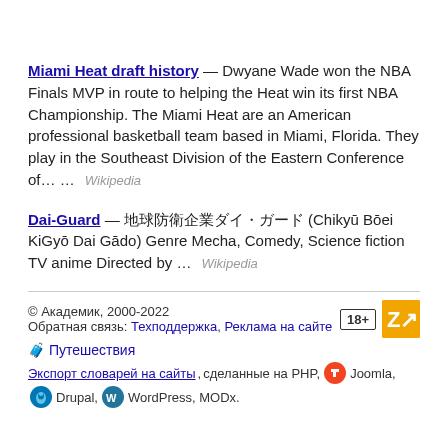Miami Heat draft history — Dwyane Wade won the NBA Finals MVP in route to helping the Heat win its first NBA Championship. The Miami Heat are an American professional basketball team based in Miami, Florida. They play in the Southeast Division of the Eastern Conference of… … Wikipedia
Dai-Guard — 地球防衛企業ダイ・ガード (Chikyū Bōei KiGyō Dai Gādo) Genre Mecha, Comedy, Science fiction TV anime Directed by … Wikipedia
© Академик, 2000-2022
Обратная связь: Техподдержка, Реклама на сайте
🧳 Путешествия
Экспорт словарей на сайты, сделанные на PHP, Joomla, Drupal, WordPress, MODx.